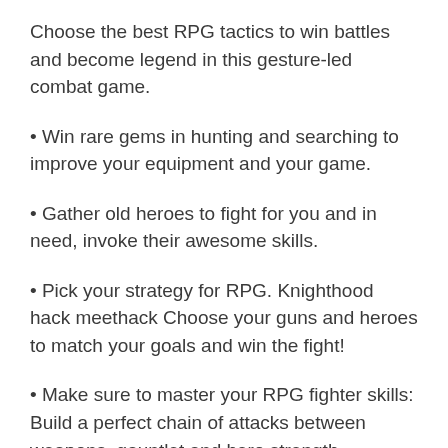Choose the best RPG tactics to win battles and become legend in this gesture-led combat game.
• Win rare gems in hunting and searching to improve your equipment and your game.
• Gather old heroes to fight for you and in need, invoke their awesome skills.
• Pick your strategy for RPG. Knighthood hack meethack Choose your guns and heroes to match your goals and win the fight!
• Make sure to master your RPG fighter skills: Build a perfect chain of attacks between weapons, gauntlet and hero strength.